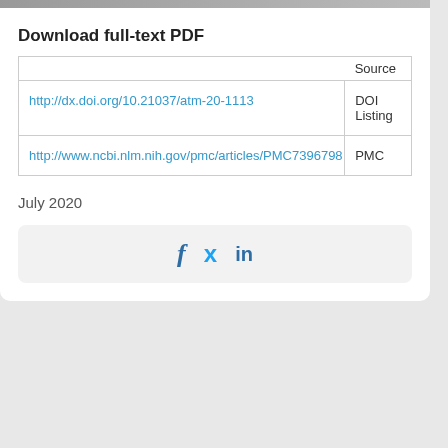Download full-text PDF
|  | Source |
| --- | --- |
| http://dx.doi.org/10.21037/atm-20-1113 | DOI Listing |
| http://www.ncbi.nlm.nih.gov/pmc/articles/PMC7396798 | PMC |
July 2020
[Figure (other): Social sharing icons: Facebook (f), Twitter (bird), LinkedIn (in)]